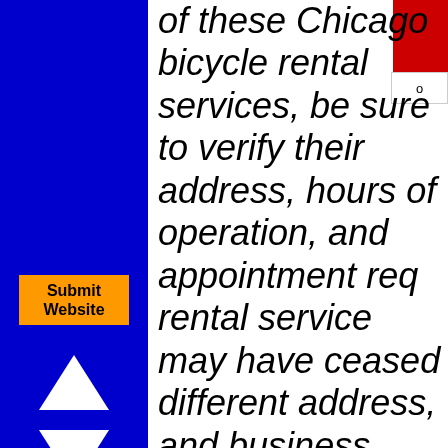of these Chicago bicycle rental services, be sure to verify their address, hours of operation, and appointment req... rental service may have ceased... different address, and business... seasonally and during holiday p... call can often save you time an...
For your convenience, links to m... included below the Chicago bicy... this page.